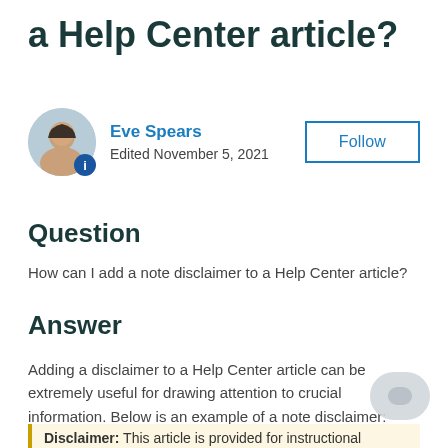a Help Center article?
Eve Spears
Edited November 5, 2021
Question
How can I add a note disclaimer to a Help Center article?
Answer
Adding a disclaimer to a Help Center article can be extremely useful for drawing attention to crucial information. Below is an example of a note disclaimer:
Disclaimer: This article is provided for instructional